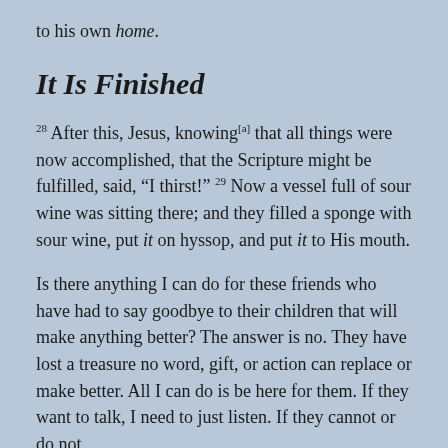to his own home.
It Is Finished
28 After this, Jesus, knowing[a] that all things were now accomplished, that the Scripture might be fulfilled, said, “I thirst!” 29 Now a vessel full of sour wine was sitting there; and they filled a sponge with sour wine, put it on hyssop, and put it to His mouth.
Is there anything I can do for these friends who have had to say goodbye to their children that will make anything better? The answer is no. They have lost a treasure no word, gift, or action can replace or make better. All I can do is be here for them. If they want to talk, I need to just listen. If they cannot or do not